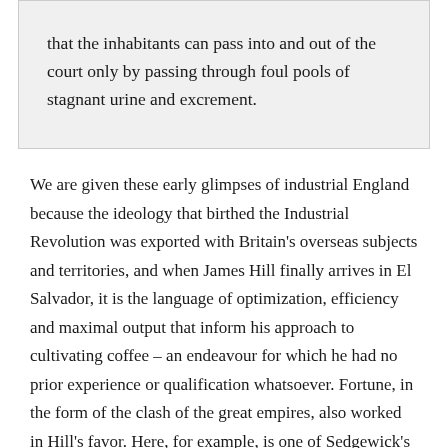that the inhabitants can pass into and out of the court only by passing through foul pools of stagnant urine and excrement.
We are given these early glimpses of industrial England because the ideology that birthed the Industrial Revolution was exported with Britain's overseas subjects and territories, and when James Hill finally arrives in El Salvador, it is the language of optimization, efficiency and maximal output that inform his approach to cultivating coffee – an endeavour for which he had no prior experience or qualification whatsoever. Fortune, in the form of the clash of the great empires, also worked in Hill's favor. Here, for example, is one of Sedgewick's better summaries of the role the major European powers played in spreading coffee's cultivation, beginning with the Dutch, who smuggled coffee seeds from Arab traders to their colony on Java, the first place under European control with hospitable growing conditions for coffee.